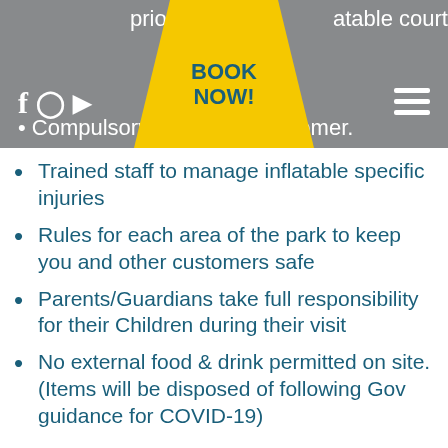prior to en...atable court area | BOOK NOW! | Compulsory...very customer.
Trained staff to manage inflatable specific injuries
Rules for each area of the park to keep you and other customers safe
Parents/Guardians take full responsibility for their Children during their visit
No external food & drink permitted on site. (Items will be disposed of following Gov guidance for COVID-19)